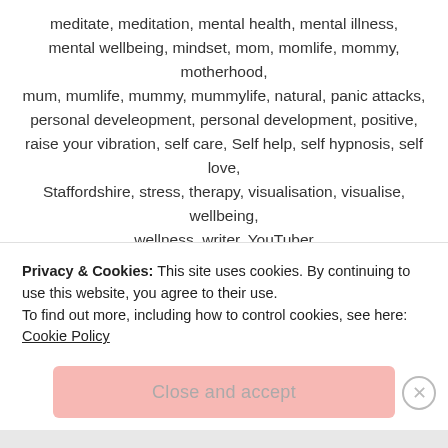meditate, meditation, mental health, mental illness, mental wellbeing, mindset, mom, momlife, mommy, motherhood, mum, mumlife, mummy, mummylife, natural, panic attacks, personal develeopment, personal development, positive, raise your vibration, self care, Self help, self hypnosis, self love, Staffordshire, stress, therapy, visualisation, visualise, wellbeing, wellness, writer, YouTuber
Leave a comment
Privacy & Cookies: This site uses cookies. By continuing to use this website, you agree to their use. To find out more, including how to control cookies, see here: Cookie Policy
Close and accept